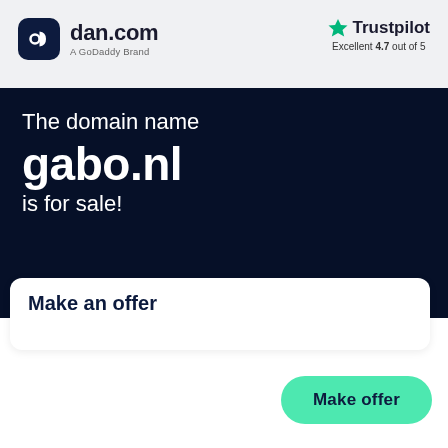[Figure (logo): dan.com logo with dark rounded square icon and text 'dan.com' with subtitle 'A GoDaddy Brand']
[Figure (logo): Trustpilot logo with green star icon and text 'Excellent 4.7 out of 5']
The domain name
gabo.nl
is for sale!
Make an offer
Make offer